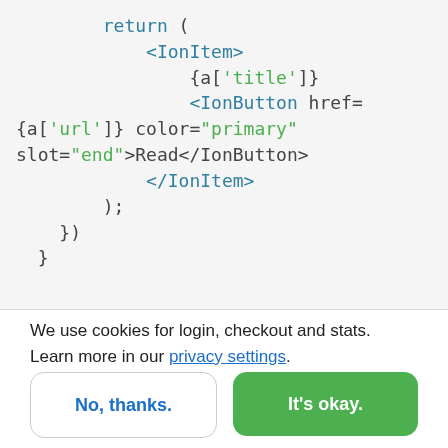[Figure (screenshot): Code snippet showing JSX/React code with IonItem and IonButton components, syntax highlighted. Shows: return (, <IonItem>, {a['title']}, <IonButton href={a['url']} color="primary" slot="end">Read</IonButton>, </IonItem>, );, }), }]
We use cookies for login, checkout and stats. Learn more in our privacy settings.